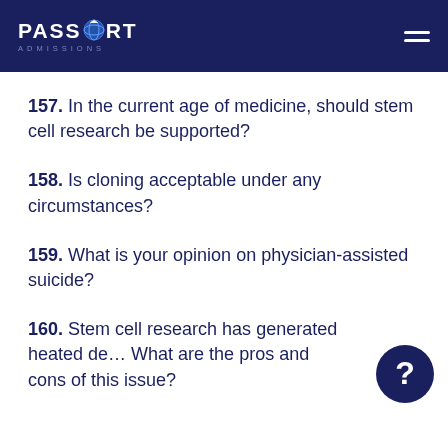PASSPORT ADMISSIONS
157. In the current age of medicine, should stem cell research be supported?
158. Is cloning acceptable under any circumstances?
159. What is your opinion on physician-assisted suicide?
160. Stem cell research has generated heated de... What are the pros and cons of this issue?